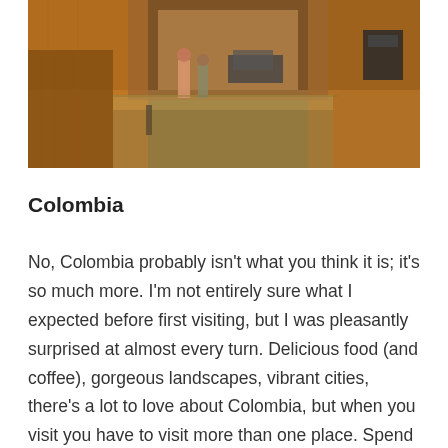[Figure (photo): Street scene in Cartagena, Colombia showing a narrow colonial alleyway with warm orange/ochre walls, pedestrians walking, a parked car in the distance, and what appears to be a small cafe sign on the right side.]
Colombia
No, Colombia probably isn't what you think it is; it's so much more. I'm not entirely sure what I expected before first visiting, but I was pleasantly surprised at almost every turn. Delicious food (and coffee), gorgeous landscapes, vibrant cities, there's a lot to love about Colombia, but when you visit you have to visit more than one place. Spend time in Bogota and Cartagena, but also in the rural coffee growing regions with small but colorful villages dotting the hills. You'll leave just as